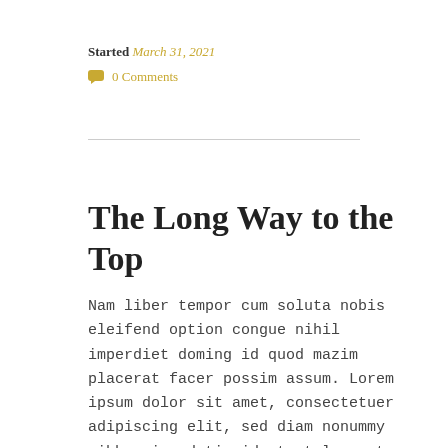Started March 31, 2021
0 Comments
The Long Way to the Top
Nam liber tempor cum soluta nobis eleifend option congue nihil imperdiet doming id quod mazim placerat facer possim assum. Lorem ipsum dolor sit amet, consectetuer adipiscing elit, sed diam nonummy nibh euismod tincidunt ut laoreet dolore magna...